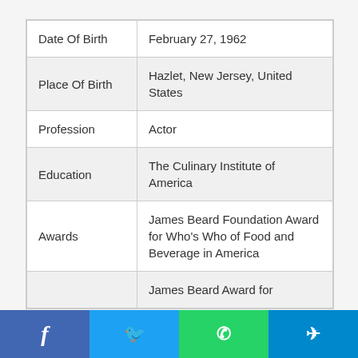| Date Of Birth | February 27, 1962 |
| Place Of Birth | Hazlet, New Jersey, United States |
| Profession | Actor |
| Education | The Culinary Institute of America |
| Awards | James Beard Foundation Award for Who's Who of Food and Beverage in America |
|  | James Beard Award for |